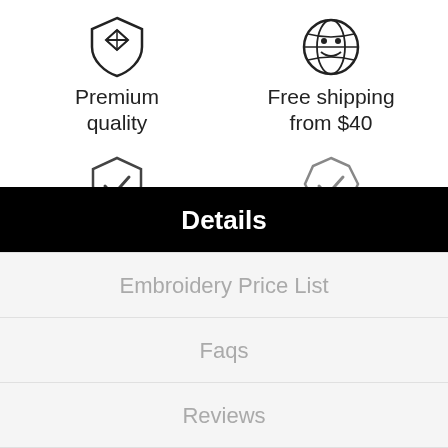[Figure (infographic): Diamond/gem icon representing premium quality]
Premium quality
[Figure (infographic): Globe/world icon representing free shipping]
Free shipping from $40
[Figure (infographic): Shield with checkmark icon representing secure checkout]
100% secure checkout
[Figure (infographic): Badge with checkmark icon representing warranty]
12 months warranty
Details
Embroidery Price List
Faqs
Reviews